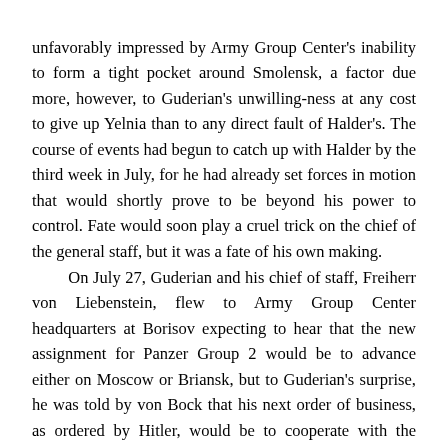unfavorably impressed by Army Group Center's inability to form a tight pocket around Smolensk, a factor due more, however, to Guderian's unwilling-ness at any cost to give up Yelnia than to any direct fault of Halder's. The course of events had begun to catch up with Halder by the third week in July, for he had already set forces in motion that would shortly prove to be beyond his power to control. Fate would soon play a cruel trick on the chief of the general staff, but it was a fate of his own making.
	On July 27, Guderian and his chief of staff, Freiherr von Liebenstein, flew to Army Group Center headquarters at Borisov expecting to hear that the new assignment for Panzer Group 2 would be to advance either on Moscow or Briansk, but to Guderian's surprise, he was told by von Bock that his next order of business, as ordered by Hitler, would be to cooperate with the Second Army and encircle the eight to ten Russian divisions in the direction of Gomel. In Guderian's